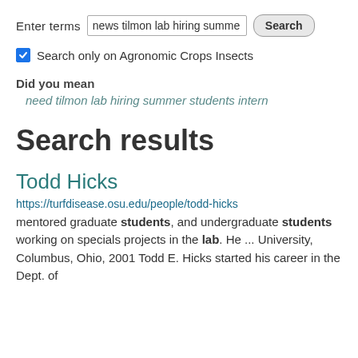Enter terms  [news tilmon lab hiring summe]  [Search]
☑ Search only on Agronomic Crops Insects
Did you mean
need tilmon lab hiring summer students intern
Search results
Todd Hicks
https://turfdisease.osu.edu/people/todd-hicks
mentored graduate students, and undergraduate students working on specials projects in the lab.  He ... University, Columbus, Ohio, 2001 Todd E. Hicks started his career in the Dept. of...